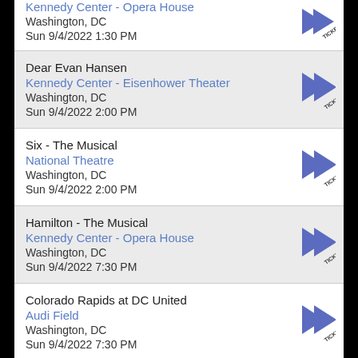Kennedy Center - Opera House
Washington, DC
Sun 9/4/2022 1:30 PM
Dear Evan Hansen
Kennedy Center - Eisenhower Theater
Washington, DC
Sun 9/4/2022 2:00 PM
Six - The Musical
National Theatre
Washington, DC
Sun 9/4/2022 2:00 PM
Hamilton - The Musical
Kennedy Center - Opera House
Washington, DC
Sun 9/4/2022 7:30 PM
Colorado Rapids at DC United
Audi Field
Washington, DC
Sun 9/4/2022 7:30 PM
Six - The Musical